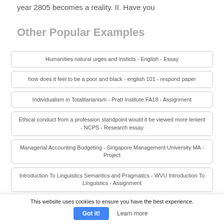year 2805 becomes a reality. II. Have you
Other Popular Examples
Humanities natural urges and insticts - English - Essay
how does it feel to be a poor and black - english 101 - respond paper
Individualism in Totalitarianism - Pratt Institute FA18 - Assignment
Ethical conduct from a profession standpoint would it be viewed more lenient - NCPS - Research essay
Managerial Accounting Budgeting - Singapore Management University MA - Project
Introduction To Linguistics Semantics and Pragmatics - WVU Introduction To Linguistics - Assignment
This website uses cookies to ensure you have the best experience.